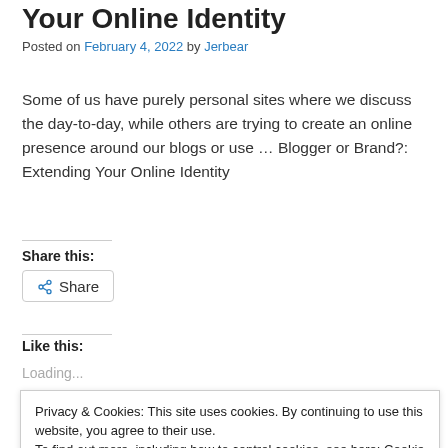Your Online Identity
Posted on February 4, 2022 by Jerbear
Some of us have purely personal sites where we discuss the day-to-day, while others are trying to create an online presence around our blogs or use ... Blogger or Brand?: Extending Your Online Identity
Share this:
Share
Like this:
Loading...
Privacy & Cookies: This site uses cookies. By continuing to use this website, you agree to their use.
To find out more, including how to control cookies, see here: Cookie Policy
Close and accept